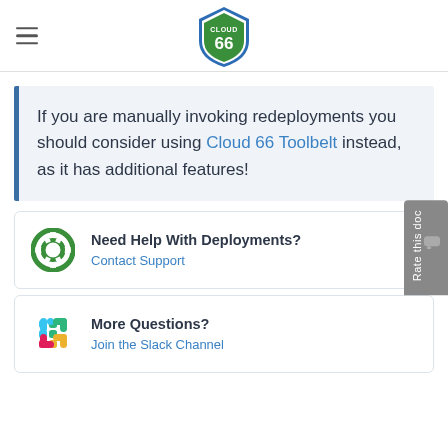Cloud 66
If you are manually invoking redeployments you should consider using Cloud 66 Toolbelt instead, as it has additional features!
Need Help With Deployments? Contact Support
More Questions? Join the Slack Channel